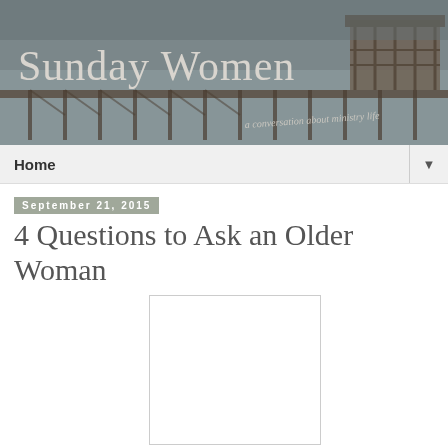[Figure (photo): Header banner photo of a wooden pier/dock over water with a gazebo structure on the right, with text overlay 'Sunday Women' and subtitle 'a conversation about ministry life']
Sunday Women
a conversation about ministry life
Home
September 21, 2015
4 Questions to Ask an Older Woman
[Figure (photo): Blank white image placeholder]